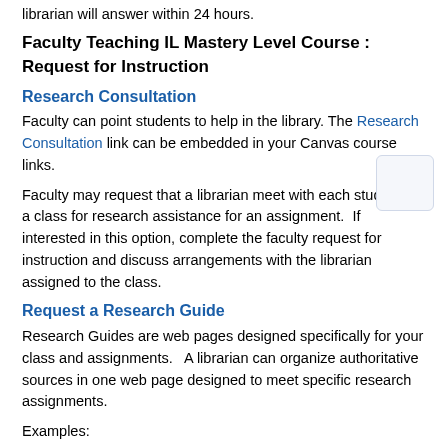librarian will answer within 24 hours.
Faculty Teaching IL Mastery Level Course : Request for Instruction
Research Consultation
Faculty can point students to help in the library. The Research Consultation link can be embedded in your Canvas course links.
Faculty may request that a librarian meet with each student in a class for research assistance for an assignment.  If interested in this option, complete the faculty request for instruction and discuss arrangements with the librarian assigned to the class.
Request a Research Guide
Research Guides are web pages designed specifically for your class and assignments.   A librarian can organize authoritative sources in one web page designed to meet specific research assignments.
Examples: